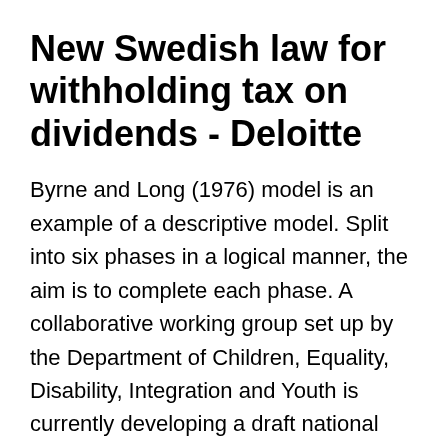New Swedish law for withholding tax on dividends - Deloitte
Byrne and Long (1976) model is an example of a descriptive model. Split into six phases in a logical manner, the aim is to complete each phase. A collaborative working group set up by the Department of Children, Equality, Disability, Integration and Youth is currently developing a draft national model of parenting support services. Parenting support is the provision of information and services aimed at strengthening parents' knowledge, confidence and skills to help achieve the best outcomes for children and their families 1 1